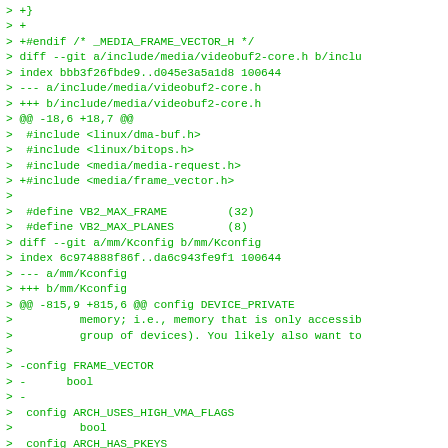> +}
> +
> +#endif /* _MEDIA_FRAME_VECTOR_H */
> diff --git a/include/media/videobuf2-core.h b/inclu
> index bbb3f26fbde9..d045e3a5a1d8 100644
> --- a/include/media/videobuf2-core.h
> +++ b/include/media/videobuf2-core.h
> @@ -18,6 +18,7 @@
>  #include <linux/dma-buf.h>
>  #include <linux/bitops.h>
>  #include <media/media-request.h>
> +#include <media/frame_vector.h>
> 
>  #define VB2_MAX_FRAME         (32)
>  #define VB2_MAX_PLANES        (8)
> diff --git a/mm/Kconfig b/mm/Kconfig
> index 6c974888f86f..da6c943fe9f1 100644
> --- a/mm/Kconfig
> +++ b/mm/Kconfig
> @@ -815,9 +815,6 @@ config DEVICE_PRIVATE
>          memory; i.e., memory that is only accessib
>          group of devices). You likely also want to
> 
> -config FRAME_VECTOR
> -      bool
> -
>  config ARCH_USES_HIGH_VMA_FLAGS
>          bool
>  config ARCH_HAS_PKEYS
> diff --git a/mm/Makefile b/mm/Makefile
> index d5649f1c12c0..a025fd6c6afd 100644
> --- a/mm/Makefile